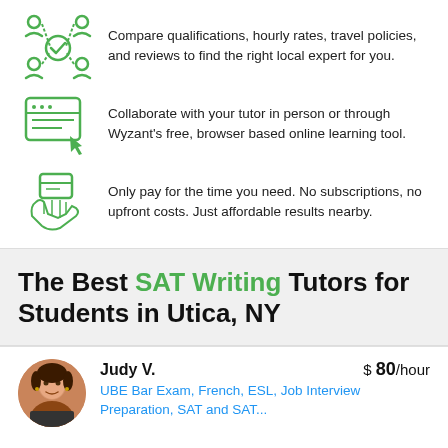Compare qualifications, hourly rates, travel policies, and reviews to find the right local expert for you.
Collaborate with your tutor in person or through Wyzant's free, browser based online learning tool.
Only pay for the time you need. No subscriptions, no upfront costs. Just affordable results nearby.
The Best SAT Writing Tutors for Students in Utica, NY
Judy V.  $ 80/hour
UBE Bar Exam, French, ESL, Job Interview Preparation, SAT and SAT...